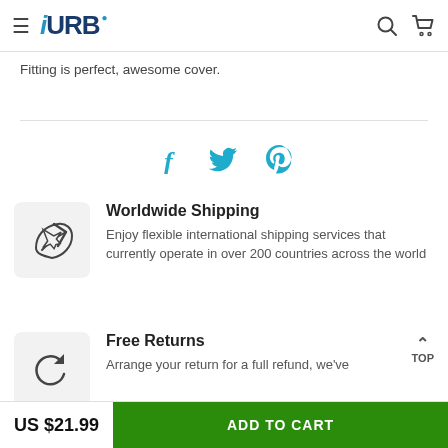URB — navigation header with hamburger menu, search and cart icons
Fitting is perfect, awesome cover.
[Figure (infographic): Social share icons: Facebook (f), Twitter (bird), Pinterest (P) in teal/blue color]
Worldwide Shipping
Enjoy flexible international shipping services that currently operate in over 200 countries across the world
Free Returns
Arrange your return for a full refund, we've
US $21.99  ADD TO CART